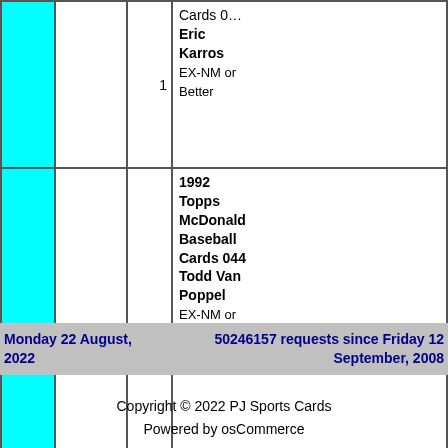| (image) | (image) | Qty | Product |
| --- | --- | --- | --- |
|  |  | 1 | Cards 0… Eric Karros EX-NM or Better |
|  |  | 1 | 1992 Topps McDonald Baseball Cards 044 Todd Van Poppel EX-NM or Better |
[Figure (other): Checkout button with play icon]
Displaying 1 to 41 (of 41 products)
► Related Categories
Monday 22 August, 2022   50246157 requests since Friday 12 September, 2008
Copyright © 2022 PJ Sports Cards
Powered by osCommerce